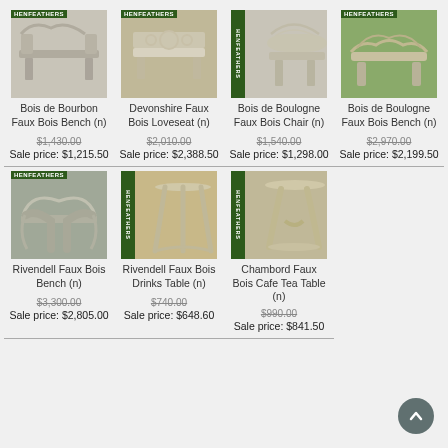[Figure (photo): Bois de Bourbon Faux Bois Bench product image with Henfeathers logo]
Bois de Bourbon Faux Bois Bench (n)
$1,430.00 Sale price: $1,215.50
[Figure (photo): Devonshire Faux Bois Loveseat product image with Henfeathers logo]
Devonshire Faux Bois Loveseat (n)
$2,010.00 Sale price: $2,388.50
[Figure (photo): Bois de Boulogne Faux Bois Chair product image with Henfeathers logo]
Bois de Boulogne Faux Bois Chair (n)
$1,540.00 Sale price: $1,298.00
[Figure (photo): Bois de Boulogne Faux Bois Bench product image with Henfeathers logo]
Bois de Boulogne Faux Bois Bench (n)
$2,970.00 Sale price: $2,199.50
[Figure (photo): Rivendell Faux Bois Bench product image with Henfeathers logo]
Rivendell Faux Bois Bench (n)
$3,300.00 Sale price: $2,805.00
[Figure (photo): Rivendell Faux Bois Drinks Table product image with Henfeathers logo]
Rivendell Faux Bois Drinks Table (n)
$740.00 Sale price: $648.60
[Figure (photo): Chambord Faux Bois Cafe Tea Table product image with Henfeathers logo]
Chambord Faux Bois Cafe Tea Table (n)
$990.00 Sale price: $841.50